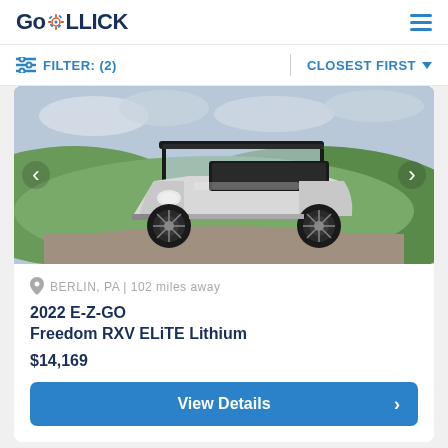GoROLLICK
FILTER: (2)   CLOSEST FIRST
[Figure (photo): White E-Z-GO golf cart with black wheels and roof on a gravel path with green grass and cloudy sky in background]
BERLIN, PA | 102 miles away
2022 E-Z-GO
Freedom RXV ELiTE Lithium
$14,169
View Details